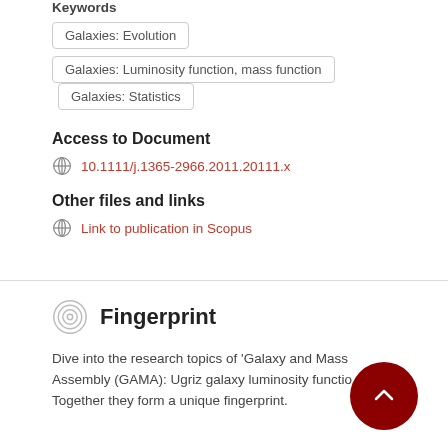Keywords
Galaxies: Evolution
Galaxies: Luminosity function, mass function
Galaxies: Statistics
Access to Document
10.1111/j.1365-2966.2011.20111.x
Other files and links
Link to publication in Scopus
Fingerprint
Dive into the research topics of 'Galaxy and Mass Assembly (GAMA): Ugriz galaxy luminosity functio… Together they form a unique fingerprint.